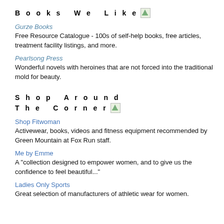Books We Like
Gurze Books
Free Resource Catalogue - 100s of self-help books, free articles, treatment facility listings, and more.
Pearlsong Press
Wonderful novels with heroines that are not forced into the traditional mold for beauty.
Shop Around The Corner
Shop Fitwoman
Activewear, books, videos and fitness equipment recommended by Green Mountain at Fox Run staff.
Me by Emme
A "collection designed to empower women, and to give us the confidence to feel beautiful..."
Ladies Only Sports
Great selection of manufacturers of athletic wear for women.